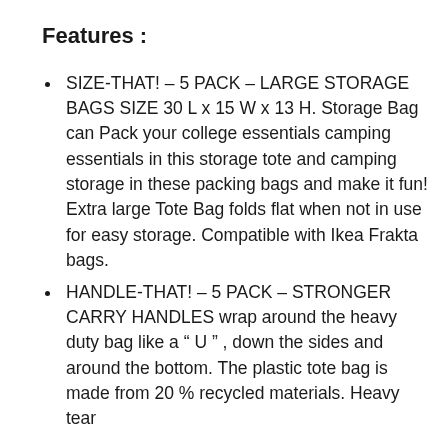Features :
SIZE-THAT! – 5 PACK – LARGE STORAGE BAGS SIZE 30 L x 15 W x 13 H. Storage Bag can Pack your college essentials camping essentials in this storage tote and camping storage in these packing bags and make it fun! Extra large Tote Bag folds flat when not in use for easy storage. Compatible with Ikea Frakta bags.
HANDLE-THAT! – 5 PACK – STRONGER CARRY HANDLES wrap around the heavy duty bag like a " U " , down the sides and around the bottom. The plastic tote bag is made from 20 % recycled materials. Heavy tear